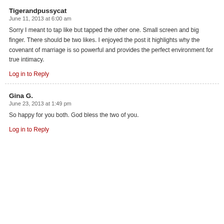Tigerandpussycat
June 11, 2013 at 6:00 am
Sorry I meant to tap like but tapped the other one. Small screen and big finger. There should be two likes. I enjoyed the post it highlights why the covenant of marriage is so powerful and provides the perfect environment for true intimacy.
Log in to Reply
Gina G.
June 23, 2013 at 1:49 pm
So happy for you both. God bless the two of you.
Log in to Reply